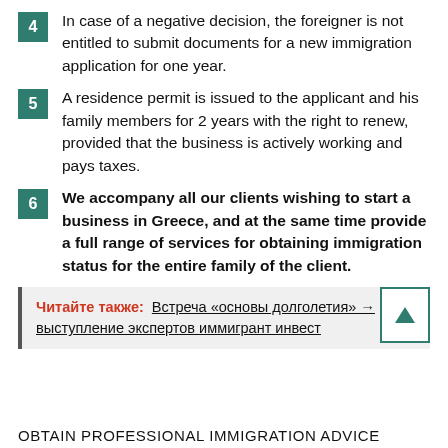4 In case of a negative decision, the foreigner is not entitled to submit documents for a new immigration application for one year.
5 A residence permit is issued to the applicant and his family members for 2 years with the right to renew, provided that the business is actively working and pays taxes.
6 We accompany all our clients wishing to start a business in Greece, and at the same time provide a full range of services for obtaining immigration status for the entire family of the client.
Читайте также: Встреча «основы долголетия» → выступление экспертов иммигрант инвест
OBTAIN PROFESSIONAL IMMIGRATION ADVICE